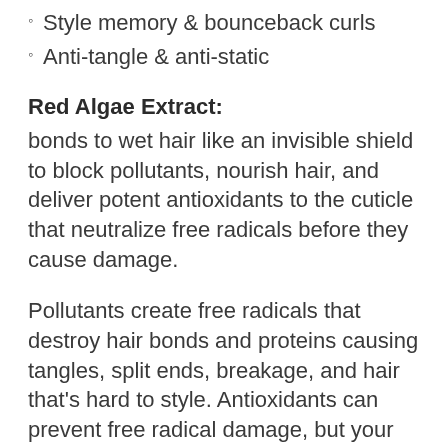Style memory & bounceback curls
Anti-tangle & anti-static
Red Algae Extract:
bonds to wet hair like an invisible shield to block pollutants, nourish hair, and deliver potent antioxidants to the cuticle that neutralize free radicals before they cause damage.
Pollutants create free radicals that destroy hair bonds and proteins causing tangles, split ends, breakage, and hair that's hard to style. Antioxidants can prevent free radical damage, but your hair doesn't absorb